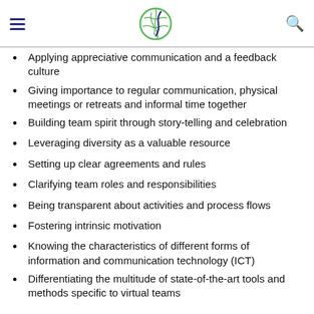Navigation header with hamburger menu, globe logo, and search icon
Applying appreciative communication and a feedback culture
Giving importance to regular communication, physical meetings or retreats and informal time together
Building team spirit through story-telling and celebration
Leveraging diversity as a valuable resource
Setting up clear agreements and rules
Clarifying team roles and responsibilities
Being transparent about activities and process flows
Fostering intrinsic motivation
Knowing the characteristics of different forms of information and communication technology (ICT)
Differentiating the multitude of state-of-the-art tools and methods specific to virtual teams